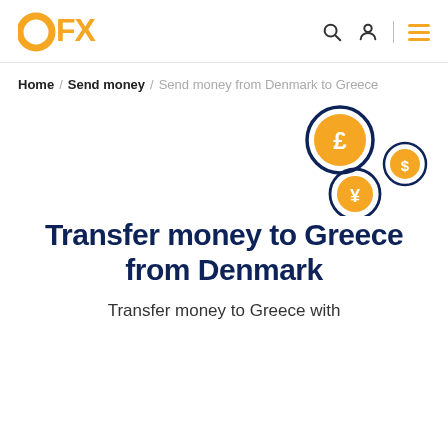OFX
Home / Send money / Send money from Denmark to Greece
[Figure (illustration): Three floating currency coin icons: a large pound (£) coin, a smaller dollar ($) coin, and a yen (¥) coin, styled in orange and dark blue outline on a white background.]
Transfer money to Greece from Denmark
Transfer money to Greece with